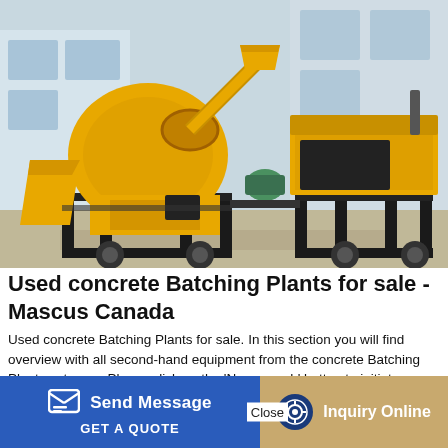[Figure (photo): Yellow concrete batching plant / mixer machine on black metal frame with wheels, photographed outdoors in front of a building. Two units visible — a large drum mixer on the left and a pump unit on the right.]
Used concrete Batching Plants for sale - Mascus Canada
Used concrete Batching Plants for sale. In this section you will find overview with all second-hand equipment from the concrete Batching Plants category. Please click on the 'New search' button to initiate a more detailed search in the construction category or to search for other used concrete
Send Message
Close
GET A QUOTE
Inquiry Online